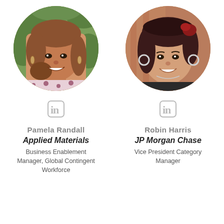[Figure (photo): Circular portrait photo of Pamela Randall, a woman with brown hair, smiling, wearing a patterned top, with green foliage in background]
[Figure (photo): Circular portrait photo of Robin Harris, a woman with dark hair and a red hair accessory, smiling, wearing a dark top]
[Figure (logo): LinkedIn 'in' logo icon, light gray, left column]
[Figure (logo): LinkedIn 'in' logo icon, light gray, right column]
Pamela Randall
Applied Materials
Business Enablement Manager, Global Contingent Workforce
Robin Harris
JP Morgan Chase
Vice President Category Manager